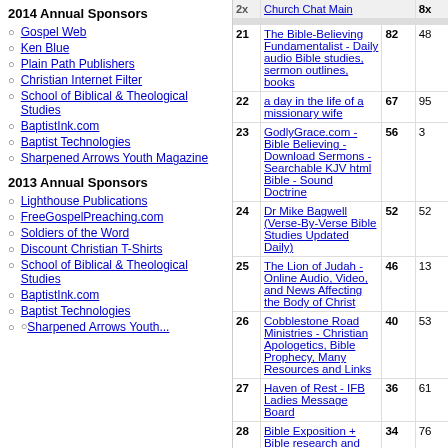2014 Annual Sponsors
Gospel Web
Ken Blue
Plain Path Publishers
Christian Internet Filter
School of Biblical & Theological Studies
BaptistInk.com
Baptist Technologies
Sharpened Arrows Youth Magazine
2013 Annual Sponsors
Lighthouse Publications
FreeGospelPreaching.com
Soldiers of the Word
Discount Christian T-Shirts
School of Biblical & Theological Studies
BaptistInk.com
Baptist Technologies
| # | Site | Col3 | Col4 |
| --- | --- | --- | --- |
| 21 | The Bible-Believing Fundamentalist - Daily audio Bible studies, sermon outlines, books | 82 | 48 |
| 22 | a day in the life of a missionary wife | 67 | 95 |
| 23 | GodlyGrace.com - Bible Believing - Download Sermons - Searchable KJV html Bible - Sound Doctrine | 56 | 3 |
| 24 | Dr Mike Bagwell (Verse-By-Verse Bible Studies Updated Daily) | 52 | 52 |
| 25 | The Lion of Judah - Online Audio, Video, and News Affecting the Body of Christ | 46 | 13 |
| 26 | Cobblestone Road Ministries - Christian Apologetics, Bible Prophecy, Many Resources and Links | 40 | 53 |
| 27 | Haven of Rest - IFB Ladies Message Board | 36 | 61 |
| 28 | Bible Exposition + Bible research and memorization tools | 34 | 76 |
| 29 | Learn the Bible 5.00 stars | 31 | 44 |
| 30 | ChildCare Action Project (CAP) Ministry - Christian Movie Analysis Reports for Parents | 28 | 48 |
| 31 | God Loves People | 24 | 29 |
| 32 | Abba's Watchman - Babylon = Nuked ! Damascus a heap of ruin ! 4.00 stars | 24 | 72 |